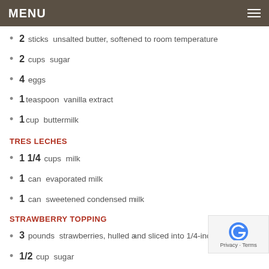MENU
2 sticks  unsalted butter, softened to room temperature
2 cups  sugar
4  eggs
1 teaspoon  vanilla extract
1 cup  buttermilk
TRES LECHES
1 1/4 cups  milk
1 can  evaporated milk
1 can  sweetened condensed milk
STRAWBERRY TOPPING
3 pounds  strawberries, hulled and sliced into 1/4-inch pieces
1/2 cup  sugar
1/3 cup  raspberry liqueur OR for an non-alcoholic version,